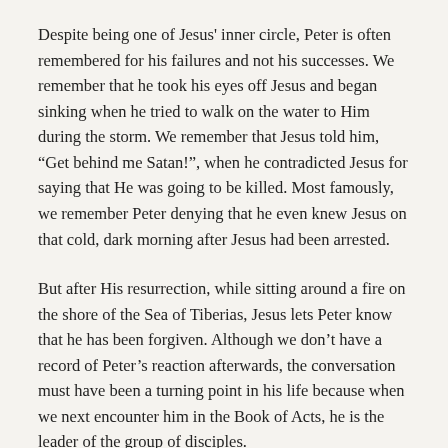Despite being one of Jesus' inner circle, Peter is often remembered for his failures and not his successes. We remember that he took his eyes off Jesus and began sinking when he tried to walk on the water to Him during the storm. We remember that Jesus told him, “Get behind me Satan!”, when he contradicted Jesus for saying that He was going to be killed. Most famously, we remember Peter denying that he even knew Jesus on that cold, dark morning after Jesus had been arrested.
But after His resurrection, while sitting around a fire on the shore of the Sea of Tiberias, Jesus lets Peter know that he has been forgiven. Although we don’t have a record of Peter’s reaction afterwards, the conversation must have been a turning point in his life because when we next encounter him in the Book of Acts, he is the leader of the group of disciples.